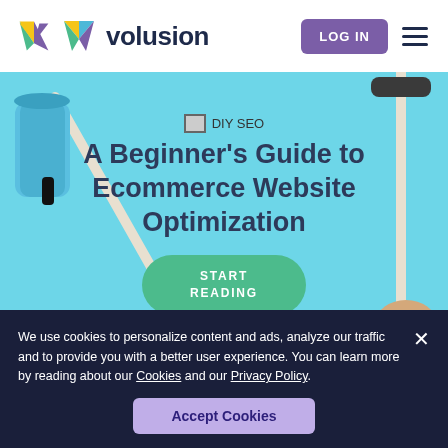[Figure (logo): Volusion logo — colorful V triangle and bold dark blue 'volusion' wordmark]
[Figure (screenshot): Website header with Volusion logo on left, purple LOG IN button and hamburger menu on right]
[Figure (photo): Hero image with light blue background, paint rollers on left and right sides, DIY SEO badge, large heading 'A Beginner's Guide to Ecommerce Website Optimization', and green START READING button]
A Beginner’s Guide to Ecommerce Website Optimization
We use cookies to personalize content and ads, analyze our traffic and to provide you with a better user experience. You can learn more by reading about our Cookies and our Privacy Policy.
Accept Cookies